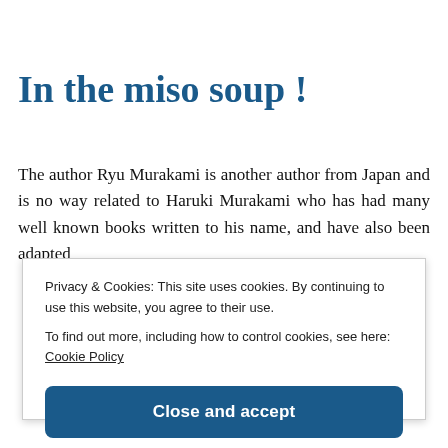In the miso soup !
The author Ryu Murakami is another author from Japan and is no way related to Haruki Murakami who has had many well known books written to his name, and have also been adapted
Privacy & Cookies: This site uses cookies. By continuing to use this website, you agree to their use.
To find out more, including how to control cookies, see here: Cookie Policy
Close and accept